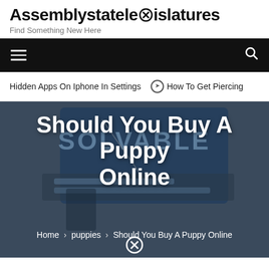Assemblystatelegislatures
Find Something New Here
Hidden Apps On Iphone In Settings  ➤  How To Get Piercing
Should You Buy A Puppy Online
Home > puppies > Should You Buy A Puppy Online